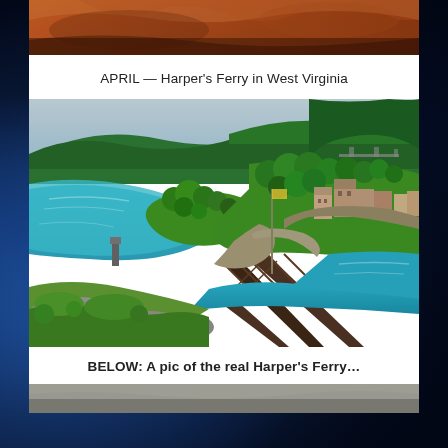[Figure (photo): Partial view of a reddish-brown rocky landscape photo, cropped at top of page]
APRIL — Harper's Ferry in West Virginia
[Figure (photo): Aerial/elevated view of Harper's Ferry, West Virginia showing a river confluence with a railroad bridge in the foreground, historic town buildings, lush green tree-covered hills, and blue water]
BELOW: A pic of the real Harper's Ferry…
[Figure (photo): Bottom strip of another photo, partially visible]